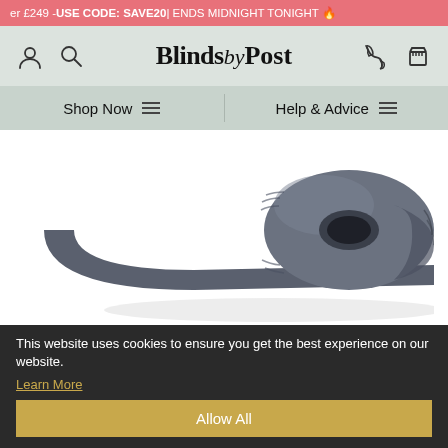er £249 - USE CODE: SAVE20 | ENDS MIDNIGHT TONIGHT 🔥
[Figure (logo): BlindsbyPost logo with user, search, phone, and basket icons in a grey header bar]
Shop Now   Help & Advice
[Figure (photo): A rolled-up dark grey/charcoal blackout blind fabric roll on a white background]
This website uses cookies to ensure you get the best experience on our website.
Learn More
Allow All
×